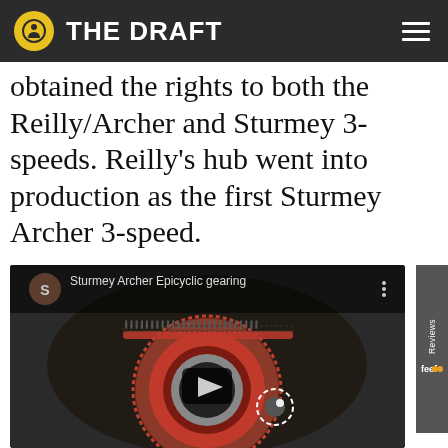THE DRAFT
obtained the rights to both the Reilly/Archer and Sturmey 3-speeds. Reilly's hub went into production as the first Sturmey Archer 3-speed.
[Figure (screenshot): YouTube video thumbnail showing 'Sturmey Archer Epicyclic gearing' with a gear/sprocket mechanism image and play button. A feefo Reviews sidebar tab is visible on the right.]